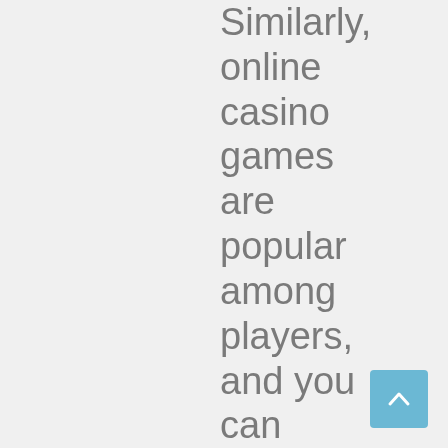Similarly, online casino games are popular among players, and you can redeem your credits to play your favorite games. You can also use your
[Figure (other): Scroll-to-top button: a light blue rounded square button with an upward-pointing chevron/arrow icon in white.]